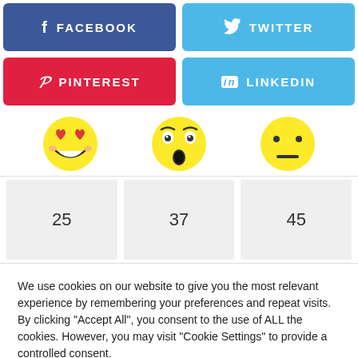[Figure (screenshot): Social media share buttons: Facebook (blue), Twitter (light blue), Pinterest (red), LinkedIn (light blue) arranged in 2x2 grid]
[Figure (infographic): Three emoji faces: heart-eyes, shocked/surprised, neutral face with reaction counts 25, 37, 45 below each]
We use cookies on our website to give you the most relevant experience by remembering your preferences and repeat visits. By clicking "Accept All", you consent to the use of ALL the cookies. However, you may visit "Cookie Settings" to provide a controlled consent.
[Figure (screenshot): Cookie consent buttons: 'Cookie Settings' (gray) and 'Accept All' (green)]